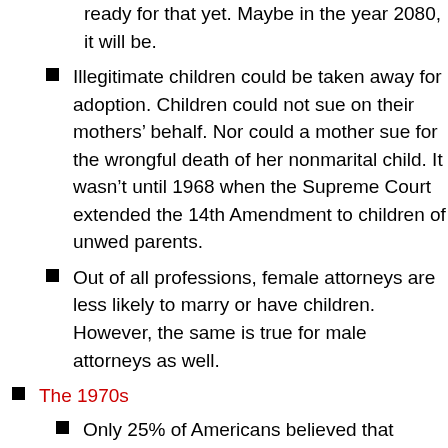ready for that yet.  Maybe in the year 2080, it will be.
Illegitimate children could be taken away for adoption.  Children could not sue on their mothers' behalf.  Nor could a mother sue for the wrongful death of her nonmarital child.  It wasn't until 1968 when the Supreme Court extended the 14th Amendment to children of unwed parents.
Out of all professions, female attorneys are less likely to marry or have children.  However, the same is true for male attorneys as well.
The 1970s
Only 25% of Americans believed that single people were “sick, neurotic, or immoral” if they remained single.
Women’s wages started to rise.
Women’s wages actually helped fight against